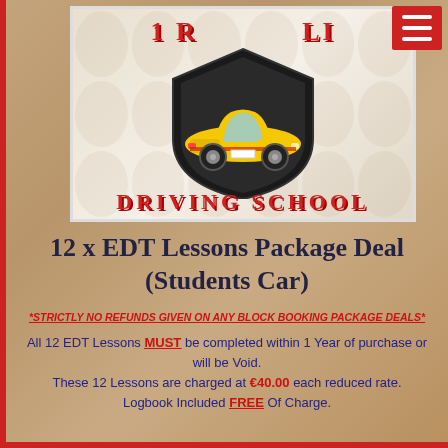[Figure (logo): 1 Road Online Driving School logo with shield, yellow car, and red text on decorative background]
12 x EDT Lessons Package Deal (Students Car)
*STRICTLY NO REFUNDS GIVEN ON ANY BLOCK BOOKING PACKAGE DEALS*
All 12 EDT Lessons MUST be completed within 1 Year of purchase or will be Void. These 12 Lessons are charged at €40.00 each reduced rate. Logbook Included FREE Of Charge.